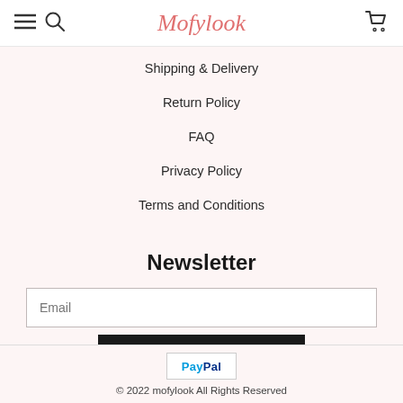Mofylook
Shipping & Delivery
Return Policy
FAQ
Privacy Policy
Terms and Conditions
Newsletter
Email
Subscribe
[Figure (logo): PayPal logo]
© 2022 mofylook All Rights Reserved